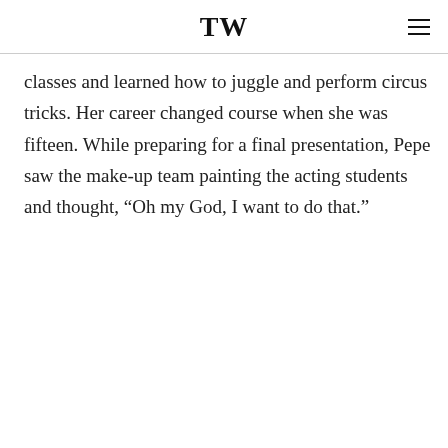TW
classes and learned how to juggle and perform circus tricks. Her career changed course when she was fifteen. While preparing for a final presentation, Pepe saw the make-up team painting the acting students and thought, “Oh my God, I want to do that.”